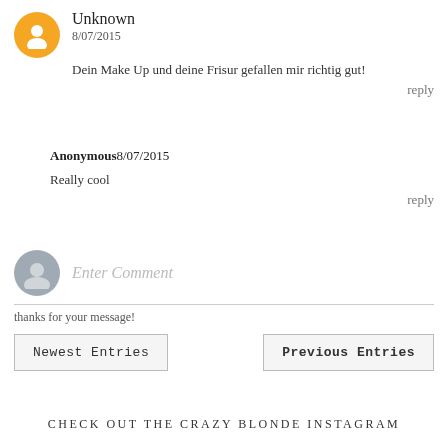Unknown
8/07/2015
Dein Make Up und deine Frisur gefallen mir richtig gut!
reply
Anonymous8/07/2015
Really cool
reply
[Figure (other): Gray user avatar icon with comment input field labeled 'Enter Comment']
thanks for your message!
Newest Entries
Previous Entries
CHECK OUT THE CRAZY BLONDE INSTAGRAM